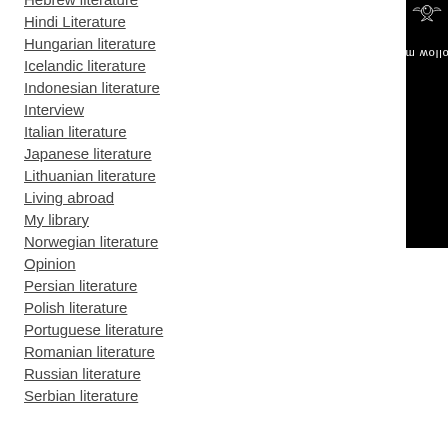Hebrew literature
Hindi Literature
Hungarian literature
Icelandic literature
Indonesian literature
Interview
Italian literature
Japanese literature
Lithuanian literature
Living abroad
My library
Norwegian literature
Opinion
Persian literature
Polish literature
Portuguese literature
Romanian literature
Russian literature
Serbian literature
[Figure (illustration): Black sidebar with a bird icon at top and 'Follow me' text rotated vertically]